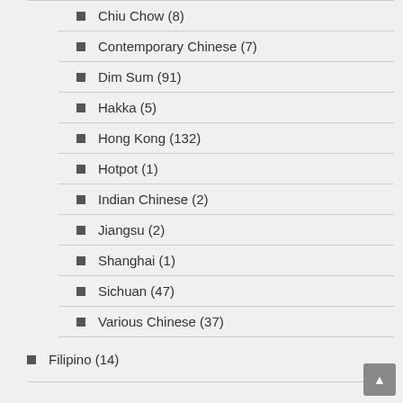Chiu Chow (8)
Contemporary Chinese (7)
Dim Sum (91)
Hakka (5)
Hong Kong (132)
Hotpot (1)
Indian Chinese (2)
Jiangsu (2)
Shanghai (1)
Sichuan (47)
Various Chinese (37)
Filipino (14)